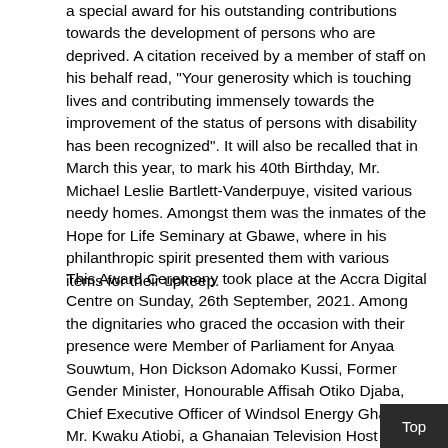a special award for his outstanding contributions towards the development of persons who are deprived. A citation received by a member of staff on his behalf read, "Your generosity which is touching lives and contributing immensely towards the improvement of the status of persons with disability has been recognized". It will also be recalled that in March this year, to mark his 40th Birthday, Mr. Michael Leslie Bartlett-Vanderpuye, visited various needy homes. Amongst them was the inmates of the Hope for Life Seminary at Gbawe, where in his philanthropic spirit presented them with various items for their upkeep.
This Award Ceremony took place at the Accra Digital Centre on Sunday, 26th September, 2021. Among the dignitaries who graced the occasion with their presence were Member of Parliament for Anyaa Souwtum, Hon Dickson Adomako Kussi, Former Gender Minister, Honourable Affisah Otiko Djaba, Chief Executive Officer of Windsol Energy Ghana, Mr. Kwaku Atiobi, a Ghanaian Television Host and Queen Mother of Afigya-Kwabre District in the Ashanti Region of Ghana, Nana Adwoa Awindor and the Queen Mother of Asante Mampong, Nana Agyakoma